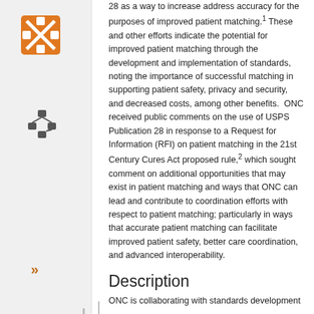28 as a way to increase address accuracy for the purposes of improved patient matching.1 These and other efforts indicate the potential for improved patient matching through the development and implementation of standards, noting the importance of successful matching in supporting patient safety, privacy and security, and decreased costs, among other benefits.  ONC received public comments on the use of USPS Publication 28 in response to a Request for Information (RFI) on patient matching in the 21st Century Cures Act proposed rule,2 which sought comment on additional opportunities that may exist in patient matching and ways that ONC can lead and contribute to coordination efforts with respect to patient matching; particularly in ways that accurate patient matching can facilitate improved patient safety, better care coordination, and advanced interoperability.
Description
ONC is collaborating with standards development